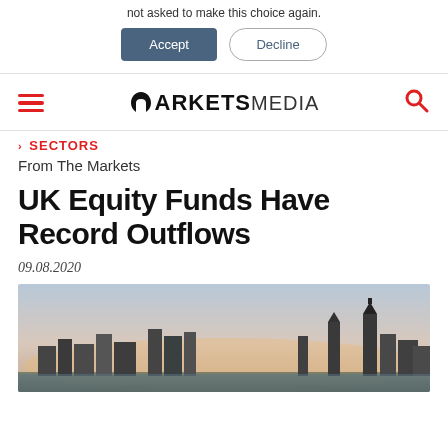not asked to make this choice again.
Accept  Decline
MARKETSMEDIA
SECTORS
From The Markets
UK Equity Funds Have Record Outflows
09.08.2020
[Figure (photo): London skyline at dusk/sunset showing city buildings including what appears to be the Houses of Parliament and other landmarks, with a soft pink and blue sky]